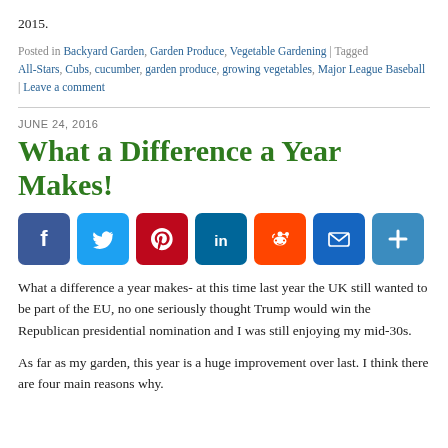2015.
Posted in Backyard Garden, Garden Produce, Vegetable Gardening | Tagged All-Stars, Cubs, cucumber, garden produce, growing vegetables, Major League Baseball | Leave a comment
JUNE 24, 2016
What a Difference a Year Makes!
[Figure (other): Social share buttons: Facebook, Twitter, Pinterest, LinkedIn, Reddit, Email, Share]
What a difference a year makes- at this time last year the UK still wanted to be part of the EU, no one seriously thought Trump would win the Republican presidential nomination and I was still enjoying my mid-30s.
As far as my garden, this year is a huge improvement over last. I think there are four main reasons why.